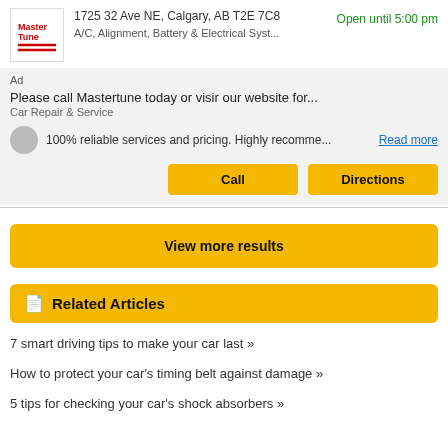[Figure (logo): MasterTune logo - red text with diagonal stripes]
1725 32 Ave NE, Calgary, AB T2E 7C8
A/C, Alignment, Battery & Electrical Syst...
Open until 5:00 pm
Ad
Please call Mastertune today or visir our website for...
Car Repair & Service
100% reliable services and pricing. Highly recomme... Read more
Call
Directions
View more results
Related Articles
7 smart driving tips to make your car last »
How to protect your car's timing belt against damage »
5 tips for checking your car's shock absorbers »